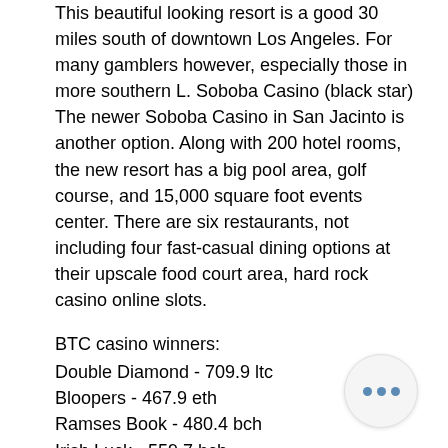This beautiful looking resort is a good 30 miles south of downtown Los Angeles. For many gamblers however, especially those in more southern L. Soboba Casino (black star) The newer Soboba Casino in San Jacinto is another option. Along with 200 hotel rooms, the new resort has a big pool area, golf course, and 15,000 square foot events center. There are six restaurants, not including four fast-casual dining options at their upscale food court area, hard rock casino online slots.
BTC casino winners:
Double Diamond - 709.9 ltc
Bloopers - 467.9 eth
Ramses Book - 480.4 bch
Irish Luck - 559.7 bch
James Dean - 12.1 btc
Couch Potato - 508.5 btc
Creature From The Black Lagoon - 36...
Journey To The West - 200 usdt